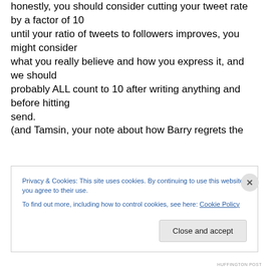honestly, you should consider cutting your tweet rate by a factor of 10
until your ratio of tweets to followers improves, you might consider
what you really believe and how you express it, and we should
probably ALL count to 10 after writing anything and before hitting
send.
(and Tamsin, your note about how Barry regrets the
Privacy & Cookies: This site uses cookies. By continuing to use this website, you agree to their use. To find out more, including how to control cookies, see here: Cookie Policy
Close and accept
HUFFINGTON POST